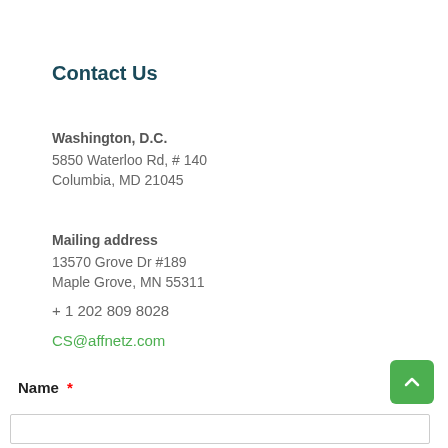Contact Us
Washington, D.C.
5850 Waterloo Rd, # 140
Columbia, MD 21045
Mailing address
13570 Grove Dr #189
Maple Grove, MN 55311
+ 1 202 809 8028
CS@affnetz.com
Name *